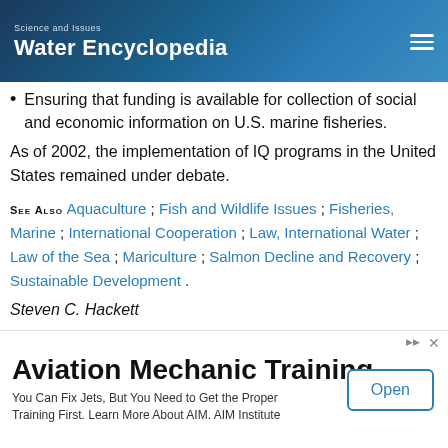Science and Issues | Water Encyclopedia
Ensuring that funding is available for collection of social and economic information on U.S. marine fisheries.
As of 2002, the implementation of IQ programs in the United States remained under debate.
SEE ALSO Aquaculture ; Fish and Wildlife Issues ; Fisheries, Marine ; International Cooperation ; Law, International Water ; Law of the Sea ; Mariculture ; Salmon Decline and Recovery ; Sustainable Development .
Steven C. Hackett
Bibliography
Casey, K., C. Dewees, B. Turris, and J. Wilen. "The Effects of al VesselQuotas in the British Columbia Halibut
[Figure (other): Advertisement banner for Aviation Mechanic Training by AIM Institute]